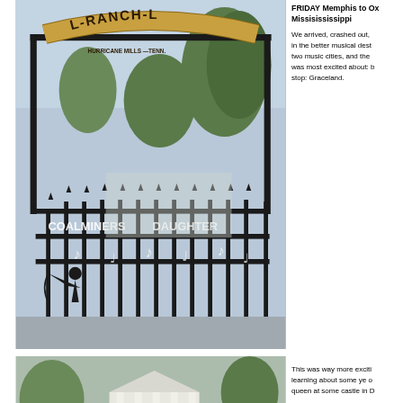[Figure (photo): Photo of a ranch gate with an arch reading 'L-RANCH-L Hurricane Mills, Tenn.' with iron gates showing 'COALMINERS DAUGHTER' text and silhouette figures]
FRIDAY Memphis to Ox Missisississippi
We arrived, crashed out, in the better musical dest two music cities, and the was most excited about: b stop: Graceland.
[Figure (photo): Photo of a white columned building or mansion, partially visible at bottom of page]
This was way more exciti learning about some ye o queen at some castle in D